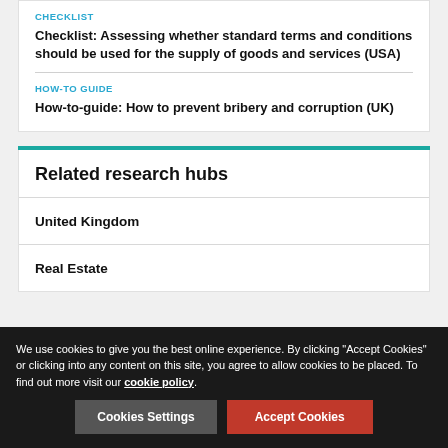CHECKLIST
Checklist: Assessing whether standard terms and conditions should be used for the supply of goods and services (USA)
HOW-TO GUIDE
How-to-guide: How to prevent bribery and corruption (UK)
Related research hubs
United Kingdom
Real Estate
We use cookies to give you the best online experience. By clicking "Accept Cookies" or clicking into any content on this site, you agree to allow cookies to be placed. To find out more visit our cookie policy.